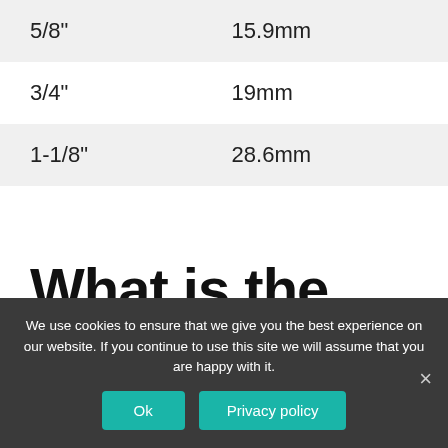| 5/8" | 15.9mm |
| 3/4" | 19mm |
| 1-1/8" | 28.6mm |
What is the actual thickness of plywood?
We use cookies to ensure that we give you the best experience on our website. If you continue to use this site we will assume that you are happy with it.